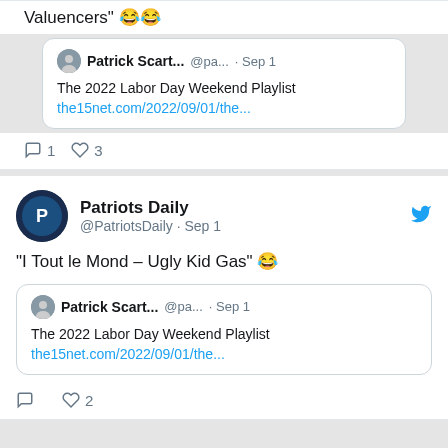Valuencers" 😂😂
[Figure (screenshot): Quoted tweet from Patrick Scart... @pa... Sep 1: The 2022 Labor Day Weekend Playlist the15net.com/2022/09/01/the...]
Reply 1  Like 3
[Figure (screenshot): Tweet from Patriots Daily @PatriotsDaily Sep 1: "I Tout le Mond – Ugly Kid Gas" 😂, quoting Patrick Scart... @pa... Sep 1: The 2022 Labor Day Weekend Playlist the15net.com/2022/09/01/the...]
Reply  Like 2